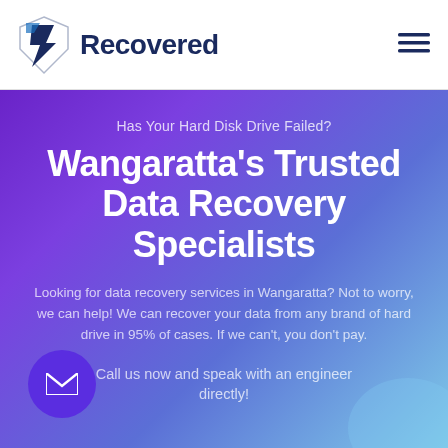[Figure (logo): Recovered company logo with shield/lightning bolt icon and bold dark blue text 'Recovered']
Has Your Hard Disk Drive Failed?
Wangaratta's Trusted Data Recovery Specialists
Looking for data recovery services in Wangaratta? Not to worry, we can help! We can recover your data from any brand of hard drive in 95% of cases. If we can't, you don't pay.
Call us now and speak with an engineer directly!